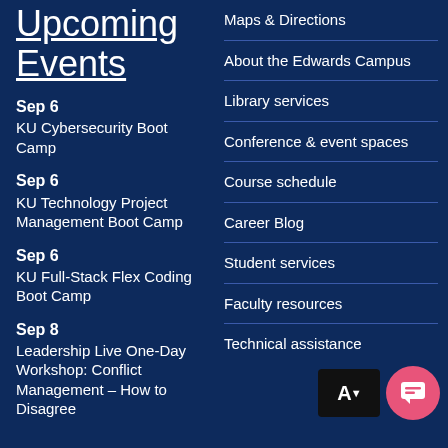Upcoming Events
Sep 6
KU Cybersecurity Boot Camp
Sep 6
KU Technology Project Management Boot Camp
Sep 6
KU Full-Stack Flex Coding Boot Camp
Sep 8
Leadership Live One-Day Workshop: Conflict Management – How to Disagree
Maps & Directions
About the Edwards Campus
Library services
Conference & event spaces
Course schedule
Career Blog
Student services
Faculty resources
Technical assistance